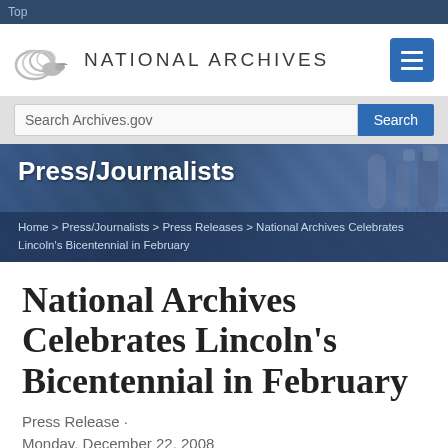Top
[Figure (logo): National Archives logo with wave graphic and text NATIONAL ARCHIVES]
Search Archives.gov
[Figure (screenshot): Press/Journalists hero banner with breadcrumb navigation: Home > Press/Journalists > Press Releases > National Archives Celebrates Lincoln's Bicentennial in February]
National Archives Celebrates Lincoln's Bicentennial in February
Press Release · Monday, December 22, 2008